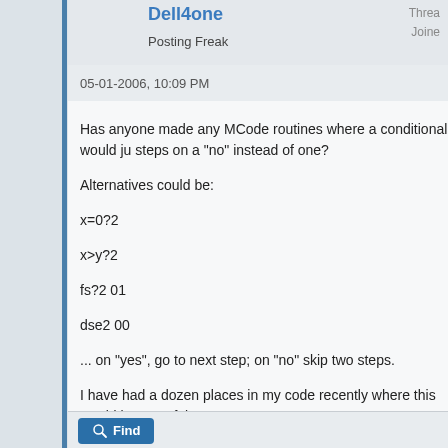Posting Freak
Threads
Joined
05-01-2006, 10:09 PM
Has anyone made any MCode routines where a conditional would jump two steps on a "no" instead of one?
Alternatives could be:
x=0?2
x>y?2
fs?2 01
dse2 00
... on "yes", go to next step; on "no" skip two steps.
I have had a dozen places in my code recently where this would be very useful.
Find